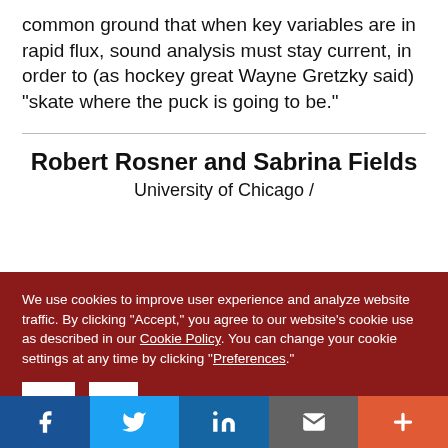common ground that when key variables are in rapid flux, sound analysis must stay current, in order to (as hockey great Wayne Gretzky said) “skate where the puck is going to be.”
Robert Rosner and Sabrina Fields
University of Chicago /
We use cookies to improve user experience and analyze website traffic. By clicking “Accept,” you agree to our website’s cookie use as described in our Cookie Policy. You can change your cookie settings at any time by clicking “Preferences.”
Decline
Accept
Preferences